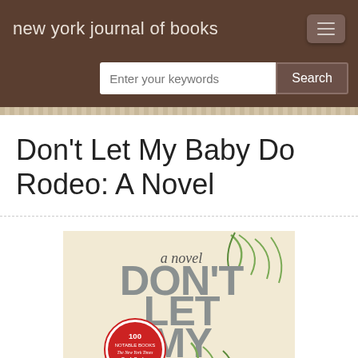new york journal of books
Don't Let My Baby Do Rodeo: A Novel
[Figure (illustration): Book cover of 'Don't Let My Baby Do Rodeo: A Novel' showing large grey text on a cream/beige background with green leaf/grass decorative elements. Includes a red circular badge reading '100 Notable Books The New York Times Book Review 2016'. Text reads 'a novel' in script at top, then 'DON'T LET MY BABY DO RODEO' in large grey sans-serif, partially visible.]